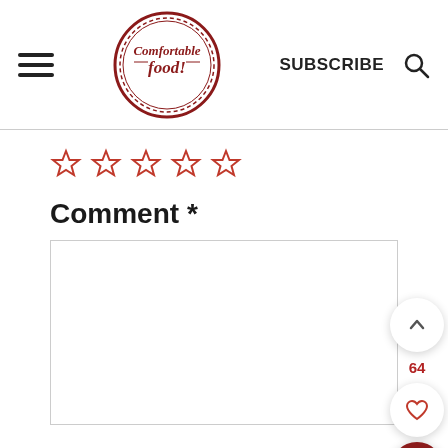[Figure (logo): Comfortable Food logo — circular badge with red border and cursive text]
SUBSCRIBE
[Figure (other): Star rating widget — 5 empty red star outlines]
Comment *
[Figure (other): Comment text area input box (empty)]
64
[Figure (other): Floating action buttons: chevron up, heart/like (64), and red search button]